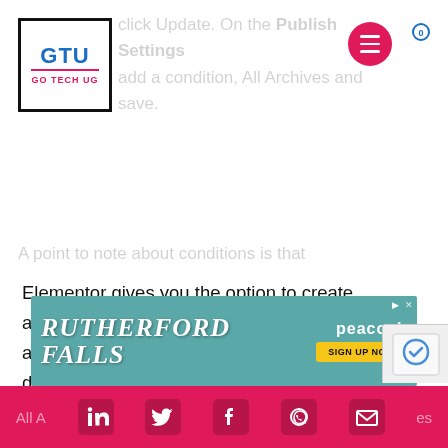GTU GO TECH UG
[Figure (screenshot): Ad banner for Rutherford Falls on Peacock streaming service with teal background, white bold text and yellow Sign Up Now button]
Elementor gives you the option to create archives for the specific categories on your site and specify where you want your template to be displayed, you can do this by selecting your option under Categories.
However in this case we want our template to work for all our archive pages so we sel
All Archives